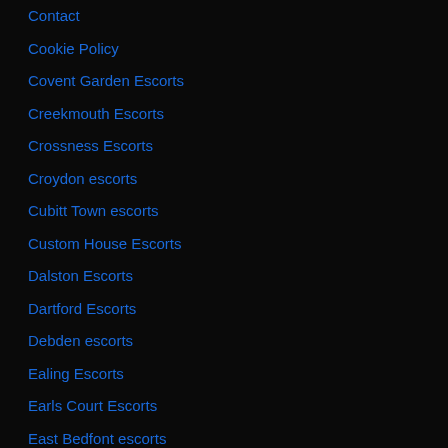Contact
Cookie Policy
Covent Garden Escorts
Creekmouth Escorts
Crossness Escorts
Croydon escorts
Cubitt Town escorts
Custom House Escorts
Dalston Escorts
Dartford Escorts
Debden escorts
Ealing Escorts
Earls Court Escorts
East Bedfont escorts
East Ham Escorts
East London
East London escorts